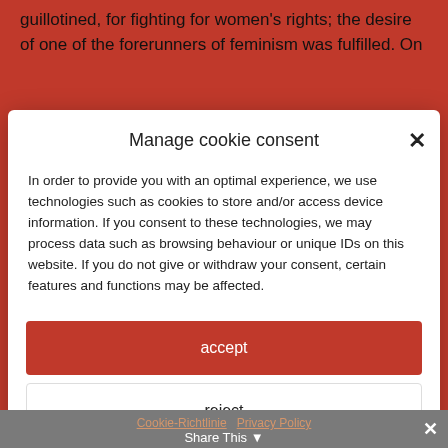guillotined, for fighting for women's rights; the desire of one of the forerunners of feminism was fulfilled. On
Manage cookie consent
In order to provide you with an optimal experience, we use technologies such as cookies to store and/or access device information. If you consent to these technologies, we may process data such as browsing behaviour or unique IDs on this website. If you do not give or withdraw your consent, certain features and functions may be affected.
accept
reject
view settings
Cookie-Richtlinie · Privacy Policy   Share This ×